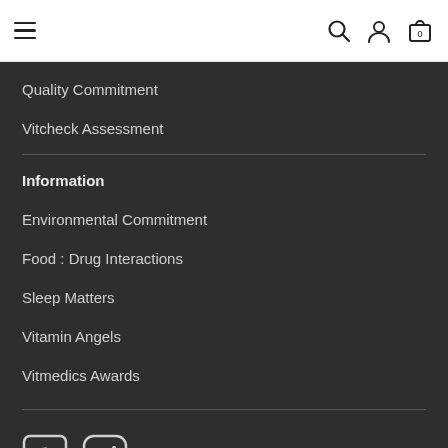≡  [search icon] [user icon] [cart icon: 0]
Quality Commitment
Vitcheck Assessment
Information
Environmental Commitment
Food : Drug Interactions
Sleep Matters
Vitamin Angels
Vitmedics Awards
[Figure (logo): Facebook and Instagram social media icons]